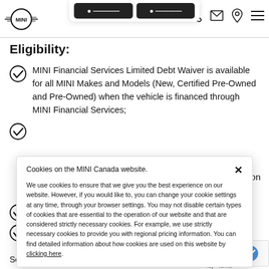[Figure (screenshot): MINI Canada website header with MINI logo on left, navigation icons (phone, email, location, hamburger menu) on right, and a dropdown modal at top-center with two dark buttons]
Eligibility:
MINI Financial Services Limited Debt Waiver is available for all MINI Makes and Models (New, Certified Pre-Owned and Pre-Owned) when the vehicle is financed through MINI Financial Services;
(partial, obscured by cookie overlay) ...on
(partial, obscured by cookie overlay)
(partial, obscured by cookie overlay)
See (partial, obscured)
Cookies on the MINI Canada website.

We use cookies to ensure that we give you the best experience on our website. However, if you would like to, you can change your cookie settings at any time, through your browser settings. You may not disable certain types of cookies that are essential to the operation of our website and that are considered strictly necessary cookies. For example, we use strictly necessary cookies to provide you with regional pricing information. You can find detailed information about how cookies are used on this website by clicking here.